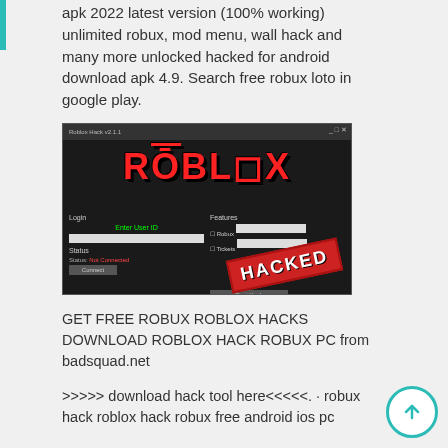apk 2022 latest version (100% working) unlimited robux, mod menu, wall hack and many more unlocked hacked for android download apk 4.9. Search free robux loto in google play.
[Figure (screenshot): Screenshot of a Roblox hack tool with dark background, Roblox logo in red, login/features UI fields, and a red HACKED stamp]
GET FREE ROBUX ROBLOX HACKS DOWNLOAD ROBLOX HACK ROBUX PC from badsquad.net
>>>>> download hack tool here<<<<<. · robux hack roblox hack robux free android ios pc · roblox hack robux free android ios...